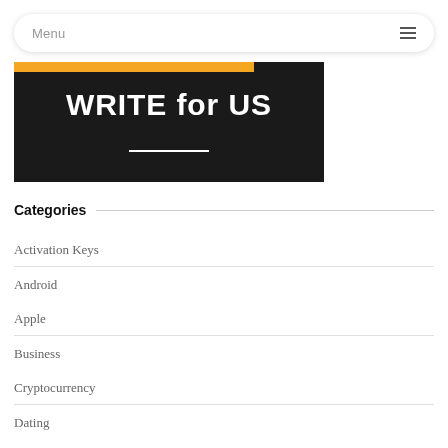Menu
[Figure (illustration): Dark banner image with orange bar at top-left and white bold text reading 'WRITE for US' with a white underline beneath the text]
Categories
Activation Keys
Android
Apple
Business
Cryptocurrency
Dating